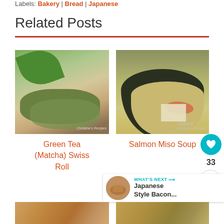Labels: Bakery | Bread | Japanese
Related Posts
[Figure (photo): Green tea matcha swiss roll sliced, showing green swirl interior, with green leaves in background]
Green Tea (Matcha) Swiss Roll
[Figure (photo): Bowl of salmon miso soup with tofu, salmon fillet and green onions in dark bowl]
Salmon Miso Soup
[Figure (photo): Bottom left food photo partial]
[Figure (photo): Bottom right food photo partial]
33
WHAT'S NEXT → Japanese Style Bacon...